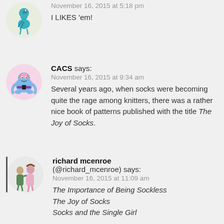November 16, 2015 at 5:18 pm
I LIKES 'em!
CACS says:
November 16, 2015 at 9:34 am
Several years ago, when socks were becoming quite the rage among knitters, there was a rather nice book of patterns published with the title The Joy of Socks.
richard mcenroe (@richard_mcenroe) says:
November 16, 2015 at 11:09 am
The Importance of Being Sockless
The Joy of Socks
Socks and the Single Girl